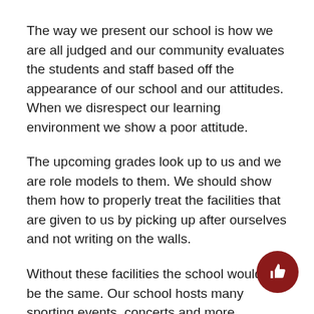The way we present our school is how we are all judged and our community evaluates the students and staff based off the appearance of our school and our attitudes. When we disrespect our learning environment we show a poor attitude.
The upcoming grades look up to us and we are role models to them. We should show them how to properly treat the facilities that are given to us by picking up after ourselves and not writing on the walls.
Without these facilities the school would not be the same. Our school hosts many sporting events, concerts and more community events.
Other schools may not be as fortunate to have the resources we have.
If we cannot respect the place we learn at everyday we